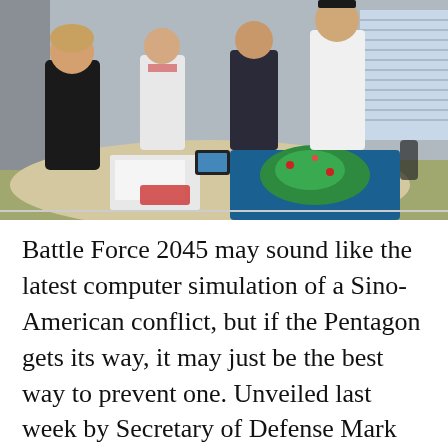[Figure (photo): Military personnel and cadets in uniform standing around a large conference table, studying a colorful map/board game spread on the table. The scene appears to be an indoor briefing or war-game exercise.]
Battle Force 2045 may sound like the latest computer simulation of a Sino-American conflict, but if the Pentagon gets its way, it may just be the best way to prevent one. Unveiled last week by Secretary of Defense Mark Esper, the first details of the